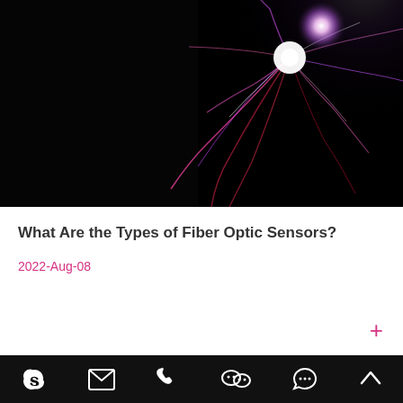[Figure (photo): Plasma ball photograph on black background showing electric discharge filaments in pink, purple and white colors radiating from a central bright white orb]
What Are the Types of Fiber Optic Sensors?
2022-Aug-08
[Figure (photo): Matrix-style digital rain image showing green falling characters/numbers on black background]
Skype | Email | Phone | WeChat | Chat | Up arrow